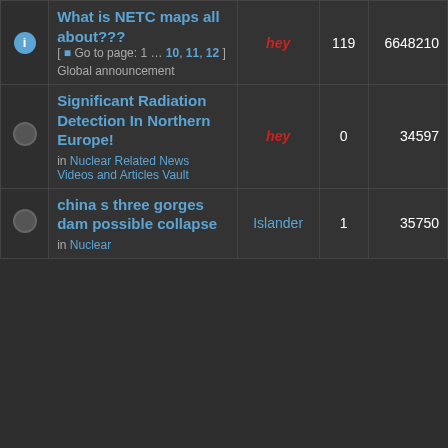|  | Topic | Author | Replies | Views |
| --- | --- | --- | --- | --- |
| [info] | What is NETC maps all about??? [ Go to page: 1 … 10, 11, 12 ] Global announcement | hey | 119 | 6648210 |
| [circle] | Significant Radiation Detection In Northern Europe! in Nuclear Related News Videos and Articles Vault | hey | 0 | 34597 |
| [circle] | china s three gorges dam possible collapse in Nuclear ... | Islander | 1 | 35750 |